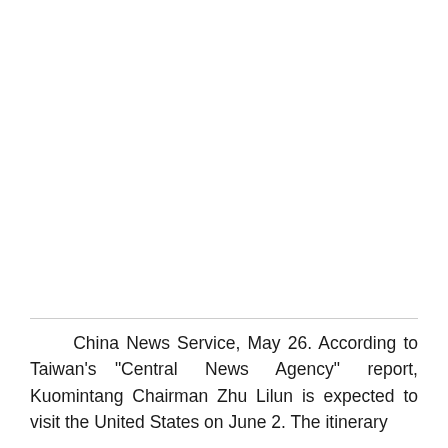China News Service, May 26. According to Taiwan's "Central News Agency" report, Kuomintang Chairman Zhu Lilun is expected to visit the United States on June 2. The itinerary